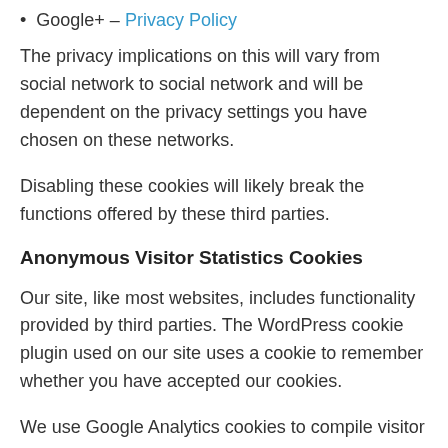Google+ – Privacy Policy
The privacy implications on this will vary from social network to social network and will be dependent on the privacy settings you have chosen on these networks.
Disabling these cookies will likely break the functions offered by these third parties.
Anonymous Visitor Statistics Cookies
Our site, like most websites, includes functionality provided by third parties. The WordPress cookie plugin used on our site uses a cookie to remember whether you have accepted our cookies.
We use Google Analytics cookies to compile visitor statistics such as how many people have visited our